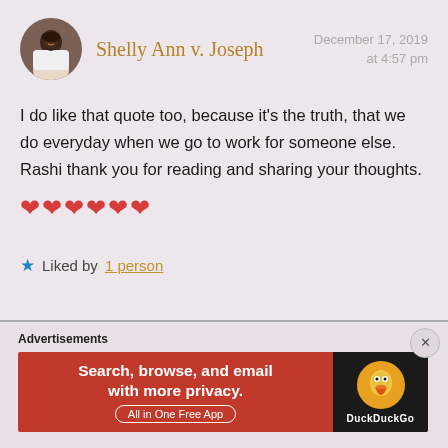Shelly Ann v. Joseph
December 17, 2019 at 4:57 pm
I do like that quote too, because it's the truth, that we do everyday when we go to work for someone else. Rashi thank you for reading and sharing your thoughts. ❤❤❤❤❤❤
★ Liked by 1 person
Advertisements
[Figure (screenshot): DuckDuckGo advertisement banner: 'Search, browse, and email with more privacy. All in One Free App' with DuckDuckGo logo on dark background.]